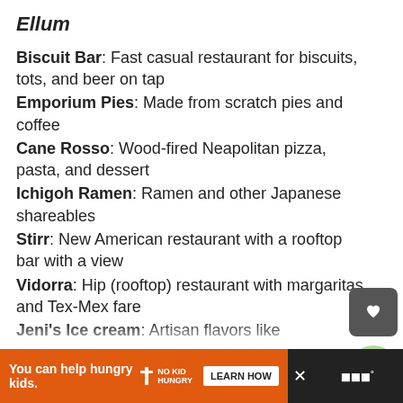Ellum
Biscuit Bar: Fast casual restaurant for biscuits, tots, and beer on tap
Emporium Pies: Made from scratch pies and coffee
Cane Rosso: Wood-fired Neapolitan pizza, pasta, and dessert
Ichigoh Ramen: Ramen and other Japanese shareables
Stirr: New American restaurant with a rooftop bar with a view
Vidorra: Hip (rooftop) restaurant with margaritas and Tex-Mex fare
Jeni's Ice cream: Artisan flavors like
Le Bons Temps: Cafe with classic beignets, ice cream, and coffee
You can help hungry kids. NO KID HUNGRY LEARN HOW